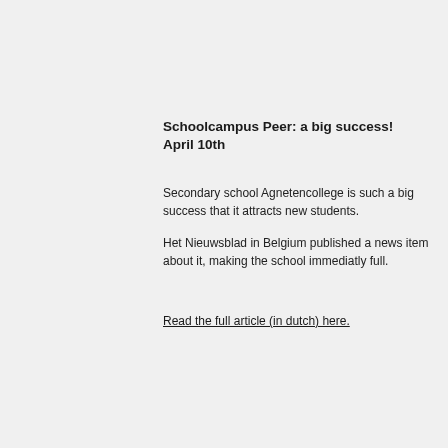Schoolcampus Peer: a big success!
April 10th
Secondary school Agnetencollege is such a big success that it attracts new students.
Het Nieuwsblad in Belgium published a news item about it, making the school immediatly full.
Read the full article (in dutch) here.